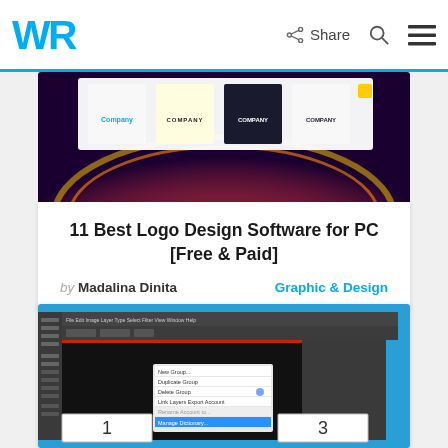WR | Share
[Figure (screenshot): Screenshot of logo design software templates showing multiple logo variations with 'Company' text on a dark purple/red gradient background]
11 Best Logo Design Software for PC [Free & Paid]
by Madalina Dinita    Graphic & Design
[Figure (screenshot): Screenshot of Adobe Illustrator or similar design software with dark interface, toolbars, and panels showing a document with pages numbered 1 and 3]